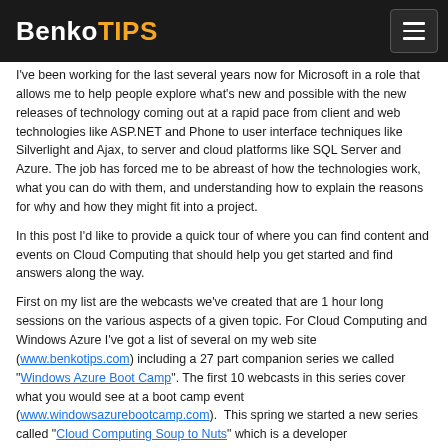BenkoTIPS
I've been working for the last several years now for Microsoft in a role that allows me to help people explore what's new and possible with the new releases of technology coming out at a rapid pace from client and web technologies like ASP.NET and Phone to user interface techniques like Silverlight and Ajax, to server and cloud platforms like SQL Server and Azure. The job has forced me to be abreast of how the technologies work, what you can do with them, and understanding how to explain the reasons for why and how they might fit into a project.
In this post I'd like to provide a quick tour of where you can find content and events on Cloud Computing that should help you get started and find answers along the way.
First on my list are the webcasts we've created that are 1 hour long sessions on the various aspects of a given topic. For Cloud Computing and Windows Azure I've got a list of several on my web site (www.benkotips.com) including a 27 part companion series we called "Windows Azure Boot Camp". The first 10 webcasts in this series cover what you would see at a boot camp event (www.windowsazurebootcamp.com).  This spring we started a new series called "Cloud Computing Soup to Nuts" which is a developer